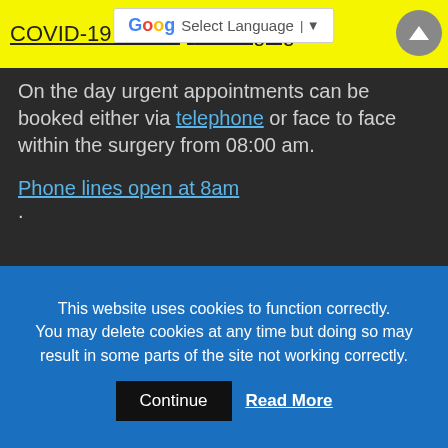COVID-19 How our Appointments are Changing
On the day urgent appointments can be booked either via telephone or face to face within the surgery from 08:00 am.
Phone lines open at 8am.
[Figure (logo): Call 111 logo - blue triangle with '111' and text 'When it's less urgent than 999']
[Figure (logo): Umbrella Medical logo - red umbrella with 'Umbrella MEDICAL - Part of the Umbrella Medical group']
[Figure (logo): NHS logo partial]
This website uses cookies to function correctly. You may delete cookies at any time but doing so may result in some parts of the site not working correctly.